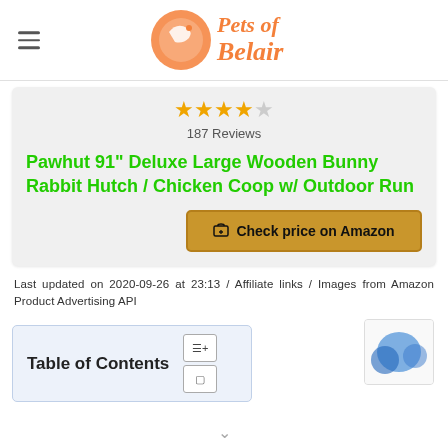Pets of Belair
[Figure (other): Star rating: 4 out of 5 stars (4 filled stars, 1 empty star)]
187 Reviews
Pawhut 91" Deluxe Large Wooden Bunny Rabbit Hutch / Chicken Coop w/ Outdoor Run
Check price on Amazon
Last updated on 2020-09-26 at 23:13 / Affiliate links / Images from Amazon Product Advertising API
Table of Contents